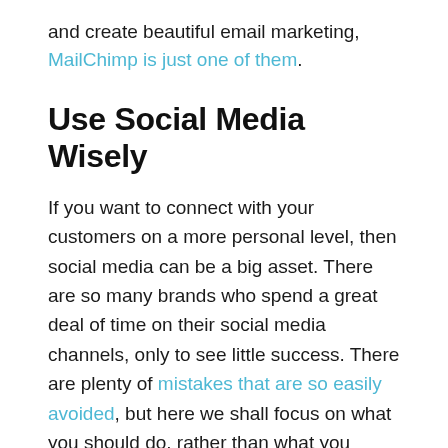and create beautiful email marketing, MailChimp is just one of them.
Use Social Media Wisely
If you want to connect with your customers on a more personal level, then social media can be a big asset. There are so many brands who spend a great deal of time on their social media channels, only to see little success. There are plenty of mistakes that are so easily avoided, but here we shall focus on what you should do, rather than what you shouldn't.
The first rule is to be consistent. Your followers will expect regular posts from you, but if you've nothing to post then don't post for posting's sake. If your business sells clothes, then you'll likely have lots of different styles to sell and should